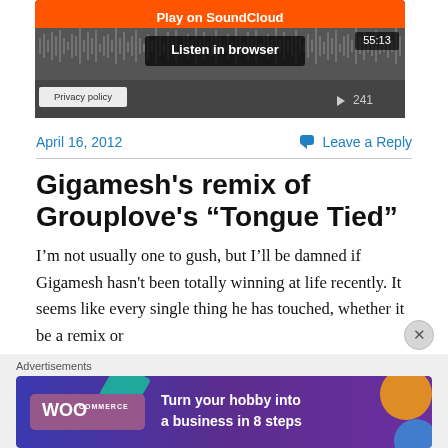[Figure (screenshot): SoundCloud embedded player widget showing orange Play on SoundCloud button, waveform with Listen in browser button, time 55:13, and play count 241]
April 16, 2012
Leave a Reply
Gigamesh’s remix of Grouplove’s “Tongue Tied”
I’m not usually one to gush, but I’ll be damned if Gigamesh hasn't been totally winning at life recently. It seems like every single thing he has touched, whether it be a remix or
[Figure (screenshot): WooCommerce advertisement banner: Turn your hobby into a business in 8 steps]